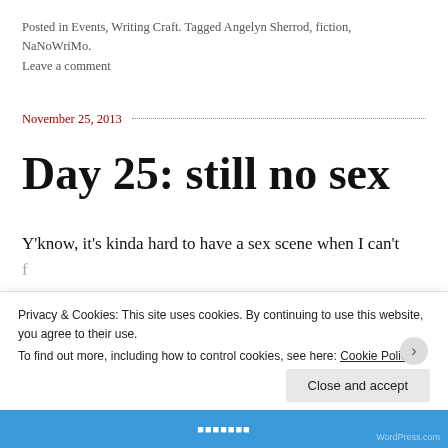Posted in Events, Writing Craft. Tagged Angelyn Sherrod, fiction, NaNoWriMo.
Leave a comment
November 25, 2013
Day 25: still no sex
Y'know, it's kinda hard to have a sex scene when I can't
Privacy & Cookies: This site uses cookies. By continuing to use this website, you agree to their use.
To find out more, including how to control cookies, see here: Cookie Policy
Close and accept